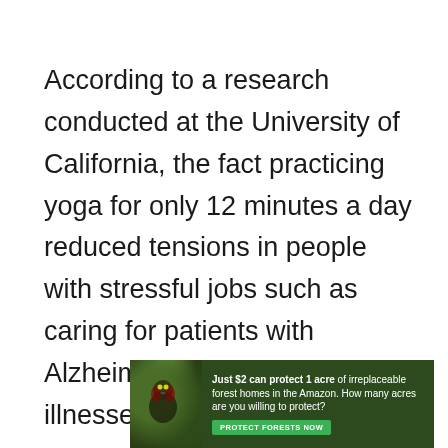According to a research conducted at the University of California, the fact practicing yoga for only 12 minutes a day reduced tensions in people with stressful jobs such as caring for patients with Alzheimer's or other mental illnesses.
[Figure (other): Advertisement banner with forest background and bird image. Text reads: 'Just $2 can protect 1 acre of irreplaceable forest homes in the Amazon. How many acres are you willing to protect?' with a green 'PROTECT FORESTS NOW' button.]